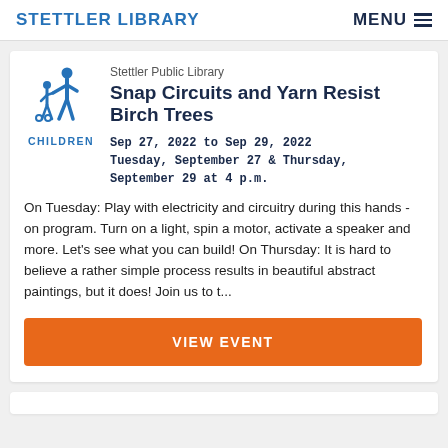STETTLER LIBRARY  MENU
[Figure (illustration): Blue icon of an adult and child figure, representing a children's category]
CHILDREN
Stettler Public Library
Snap Circuits and Yarn Resist Birch Trees
Sep 27, 2022 to Sep 29, 2022
Tuesday, September 27 & Thursday, September 29 at 4 p.m.
On Tuesday: Play with electricity and circuitry during this hands -on program. Turn on a light, spin a motor, activate a speaker and more. Let's see what you can build! On Thursday: It is hard to believe a rather simple process results in beautiful abstract paintings, but it does! Join us to t...
VIEW EVENT